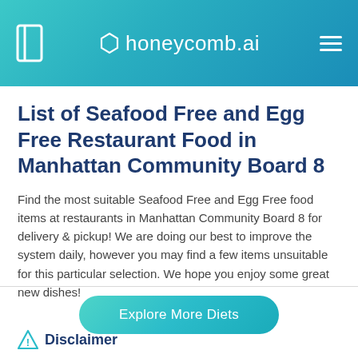honeycomb.ai
List of Seafood Free and Egg Free Restaurant Food in Manhattan Community Board 8
Find the most suitable Seafood Free and Egg Free food items at restaurants in Manhattan Community Board 8 for delivery & pickup! We are doing our best to improve the system daily, however you may find a few items unsuitable for this particular selection. We hope you enjoy some great new dishes!
Explore More Diets
Disclaimer